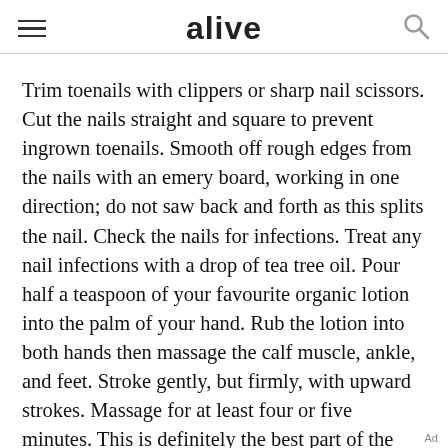alive
Trim toenails with clippers or sharp nail scissors. Cut the nails straight and square to prevent ingrown toenails. Smooth off rough edges from the nails with an emery board, working in one direction; do not saw back and forth as this splits the nail. Check the nails for infections. Treat any nail infections with a drop of tea tree oil. Pour half a teaspoon of your favourite organic lotion into the palm of your hand. Rub the lotion into both hands then massage the calf muscle, ankle, and feet. Stroke gently, but firmly, with upward strokes. Massage for at least four or five minutes. This is definitely the best part of the treatment. Slip on a cotton sock then repeat the pedicure on the other foot.
Ad